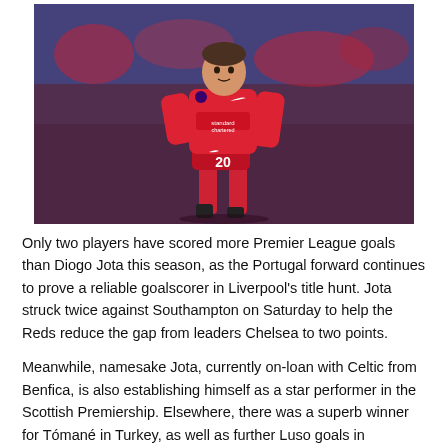[Figure (photo): Diogo Jota, Liverpool FC player wearing red number 20 jersey with Standard Chartered sponsor, running during a Premier League match]
Only two players have scored more Premier League goals than Diogo Jota this season, as the Portugal forward continues to prove a reliable goalscorer in Liverpool's title hunt. Jota struck twice against Southampton on Saturday to help the Reds reduce the gap from leaders Chelsea to two points.
Meanwhile, namesake Jota, currently on-loan with Celtic from Benfica, is also establishing himself as a star performer in the Scottish Premiership. Elsewhere, there was a superb winner for Tómané in Turkey, as well as further Luso goals in Bulgaria, Romania, Lithuania